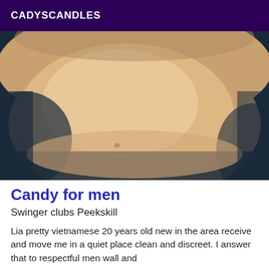CADYSCANDLES
[Figure (photo): Close-up photo of a person's midsection/torso against a dark background]
Candy for men
Swinger clubs Peekskill
Lia pretty vietnamese 20 years old new in the area receive and move me in a quiet place clean and discreet. I answer that to respectful men wall and